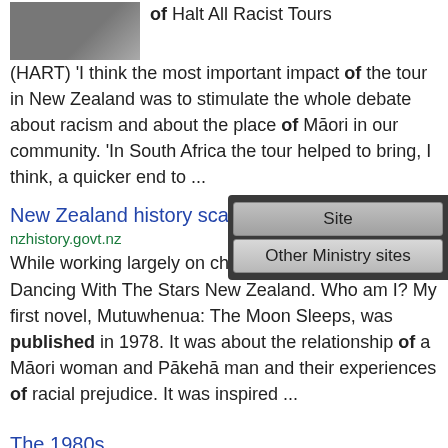[Figure (photo): Partial photo of a person, cropped at top]
of Halt All Racist Tours (HART) 'I think the most important impact of the tour in New Zealand was to stimulate the whole debate about racism and about the place of Māori in our community. 'In South Africa the tour helped to bring, I think, a quicker end to ...
New Zealand history scaven...
nzhistory.govt.nz
While working largely on childre... a contestant on Dancing With The Stars New Zealand. Who am I? My first novel, Mutuwhenua: The Moon Sleeps, was published in 1978. It was about the relationship of a Māori woman and Pākehā man and their experiences of racial prejudice. It was inspired ...
The 1980s
nzhistory.govt.nz
we published our first ever 'Rich List'. Labour's ro...